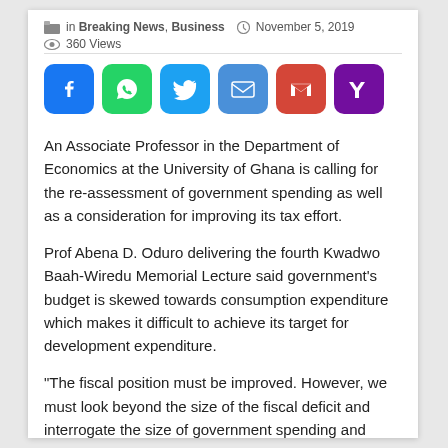in Breaking News, Business  |  November 5, 2019
360 Views
[Figure (infographic): Social sharing buttons: Facebook (blue), WhatsApp (green), Twitter (light blue), Email (blue), Gmail (red), Yahoo (purple)]
An Associate Professor in the Department of Economics at the University of Ghana is calling for the re-assessment of government spending as well as a consideration for improving its tax effort.
Prof Abena D. Oduro delivering the fourth Kwadwo Baah-Wiredu Memorial Lecture said government's budget is skewed towards consumption expenditure which makes it difficult to achieve its target for development expenditure.
“The fiscal position must be improved. However, we must look beyond the size of the fiscal deficit and interrogate the size of government spending and revenues, the composition of government spending and which groups bear the burden of taxation.
“Ghana’s ratio of government spending to Gross